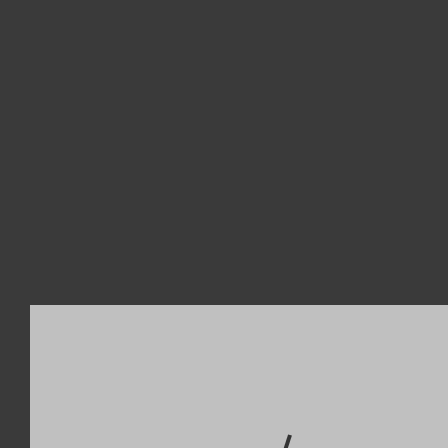[Figure (photo): Black and white photograph of Charlie Sifford, a golfer mid-swing on a golf course, wearing white clothing. Overlaid with a dark red 'SPORTS' badge in the top right corner and the date 'JUN 11' in large white text.]
CHARLIE SIFFORD BREA...
POSTED BY MLONG43
Today in Black History     On June 11, 1959, Charlie Sifford became the first Black player to take part in a a Pro Golfers Association